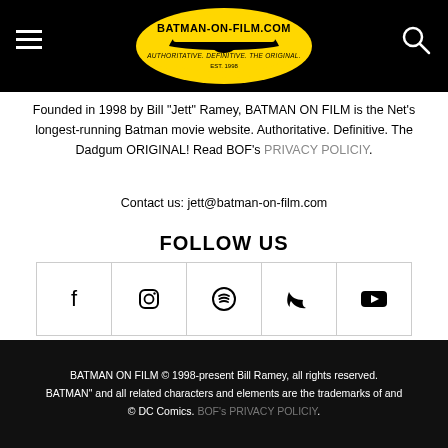BATMAN-ON-FILM.COM — Authoritative. Definitive. The Original. Est. 1998
Founded in 1998 by Bill "Jett" Ramey, BATMAN ON FILM is the Net's longest-running Batman movie website. Authoritative. Definitive. The Dadgum ORIGINAL! Read BOF's PRIVACY POLICIY.
Contact us: jett@batman-on-film.com
FOLLOW US
[Figure (infographic): Row of 5 social media icons in bordered boxes: Facebook, Instagram, Spotify, Twitter, YouTube]
BATMAN ON FILM © 1998-present Bill Ramey, all rights reserved. BATMAN" and all related characters and elements are the trademarks of and © DC Comics. BOF's PRIVACY POLICIY.